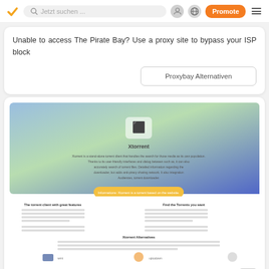Jetzt suchen ... [search bar] [Promote button]
Unable to access The Pirate Bay? Use a proxy site to bypass your ISP block
Proxybay Alternativen
[Figure (screenshot): Screenshot of Xtorrent website with blue-green gradient header and Xtorrent logo, showing torrent client description and features section with navigation links at bottom]
Xtorrentp2p.com